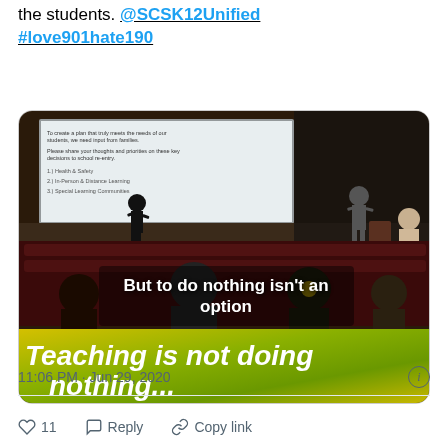the students. @SCSK12Unified #love901hate190
[Figure (photo): Photo of a school auditorium event with people on stage in front of a projection screen. Text overlays read 'But to do nothing isn't an option' and 'Teaching is not doing nothing...']
11:06 PM · Jun 29, 2020
11  Reply  Copy link